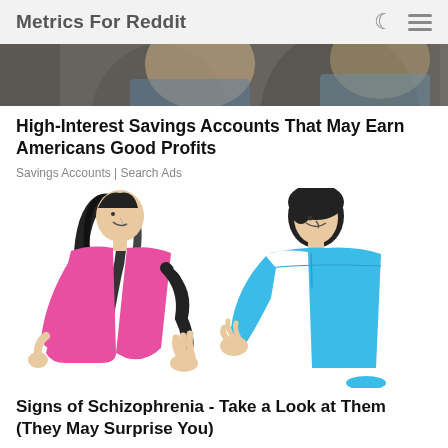Metrics For Reddit
[Figure (photo): Cropped photo of two people, partially visible at top of page]
High-Interest Savings Accounts That May Earn Americans Good Profits
Savings Accounts | Search Ads
[Figure (illustration): Illustration of a woman in a pink top and a man in a blue shirt facing each other, appearing to have a conversation]
Signs of Schizophrenia - Take a Look at Them (They May Surprise You)